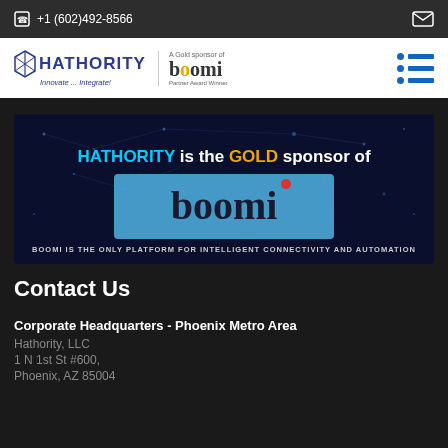+1 (602)492-8566
[Figure (logo): Hathority logo with tagline 'Innovate ... Integrate!' and Boomi Gold Sponsor Partner Award Winner badge, plus hamburger menu icon]
[Figure (infographic): Dark banner: 'HATHORITY is the GOLD sponsor of boomi. BOOMI IS THE ONLY PLATFORM FOR INTELLIGENT CONNECTIVITY AND AUTOMATION']
Contact Us
Corporate Headquarters - Phoenix Metro Area
Hathority, LLC
1 N 1st St #600,
Phoenix, AZ 85004